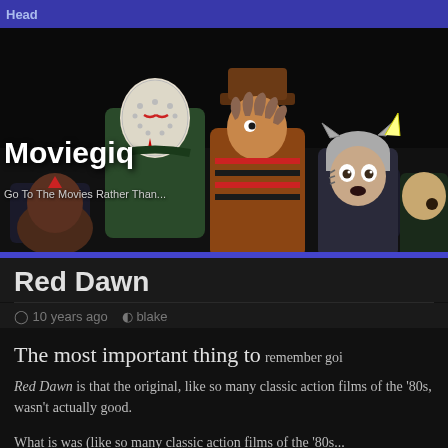Head
[Figure (illustration): Cartoon illustration of horror movie characters (Jason Voorhees, Freddy Krueger, and others) sitting in a movie theater, dark background with a blue stripe at bottom.]
Moviegiq
Go To The Movies Rather Than...
Red Dawn
10 years ago  blake
The most important thing to remember going into the new Red Dawn is that the original, like so many classic action films of the '80s, wasn't actually good.
What is was (like so many classic action films of the '80s...